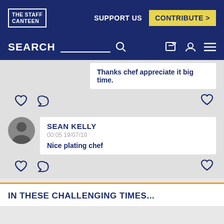[Figure (logo): The Staff Canteen logo in white on dark navy header]
SUPPORT US
CONTRIBUTE >
SEARCH
Thanks chef appreciate it big time.
SEAN KELLY
00:05 19/07/18
Nice plating chef
IN THESE CHALLENGING TIMES...